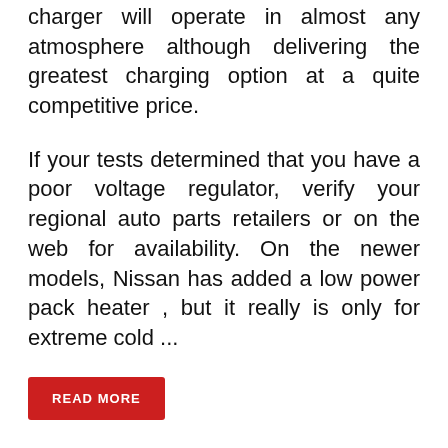charger will operate in almost any atmosphere although delivering the greatest charging option at a quite competitive price.
If your tests determined that you have a poor voltage regulator, verify your regional auto parts retailers or on the web for availability. On the newer models, Nissan has added a low power pack heater , but it really is only for extreme cold ...
READ MORE
SOLAR ENERGY STORAGE
How Is Solar Power Stored?